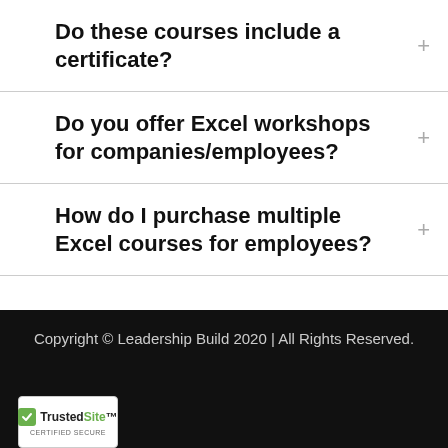Do these courses include a certificate?
Do you offer Excel workshops for companies/employees?
How do I purchase multiple Excel courses for employees?
Copyright © Leadership Build 2020 | All Rights Reserved.